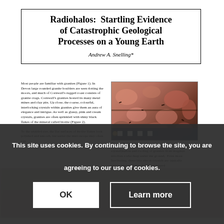Radiohalos: Startling Evidence of Catastrophic Geological Processes on a Young Earth
Andrew A. Snelling*
Most people are familiar with granites (Figure 1). In Devon large rounded granite boulders are seen dotting the moors, and much of Cornwall's rugged coast consists of granite crags. Cornwall's granites hosted its many metal mines and clay pits. Up close, the coarse, colourful, interlocking crystals within granites give them an aura of elegance and intrigue. As well as glassy, pink and cream crystals, granites are often sprinkled with shiny black flakes of the mineral called biotite (Figure 2).
[Figure (photo): Close-up photograph of granite rock specimen showing pink, cream and dark mineral crystals with a scale bar]
Figure 2. Granite close-up
To the unaided eye, the flat surfaces of biotite flakes look polished and smooth, but under the microscope they often can
crystallisation and cooling of granites from magmas involves rocks deep under the ground. Even more fascinating, these tiny zircon crystals are typically surrounded by halos of dark, coloured